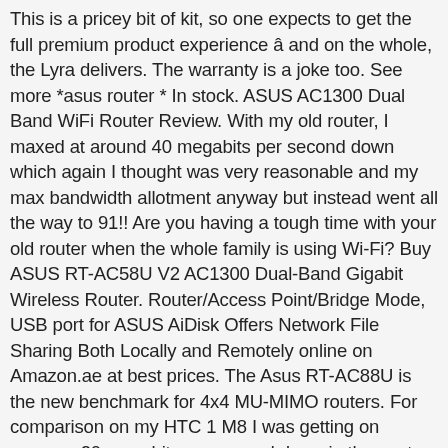This is a pricey bit of kit, so one expects to get the full premium product experience â and on the whole, the Lyra delivers. The warranty is a joke too. See more *asus router * In stock. ASUS AC1300 Dual Band WiFi Router Review. With my old router, I maxed at around 40 megabits per second down which again I thought was very reasonable and my max bandwidth allotment anyway but instead went all the way to 91!! Are you having a tough time with your old router when the whole family is using Wi-Fi? Buy ASUS RT-AC58U V2 AC1300 Dual-Band Gigabit Wireless Router. Router/Access Point/Bridge Mode, USB port for ASUS AiDisk Offers Network File Sharing Both Locally and Remotely online on Amazon.ae at best prices. The Asus RT-AC88U is the new benchmark for 4x4 MU-MIMO routers. For comparison on my HTC 1 M8 I was getting on average 20 megabits per second down in the next room from the old router, but now Iâm getting full speed equivalent to the wired computer at around 90mega bits per second on the 5Ghz band, which is the fastest and which the M8 supports. The apps for Android and Apple allow for convenient